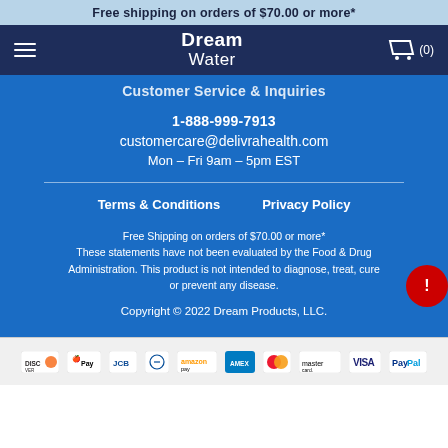Free shipping on orders of $70.00 or more*
[Figure (logo): Dream Water logo with hamburger menu and cart icon on dark navy navigation bar]
Customer Service & Inquiries
1-888-999-7913
customercare@delivrahealth.com
Mon – Fri 9am – 5pm EST
Terms & Conditions   Privacy Policy
Free Shipping on orders of $70.00 or more*
These statements have not been evaluated by the Food & Drug Administration. This product is not intended to diagnose, treat, cure or prevent any disease.
Copyright © 2022 Dream Products, LLC.
[Figure (infographic): Payment method icons: Discover, Apple Pay, JCB, Diners Club, Amazon Pay, American Express, Mastercard (two logos), Visa, PayPal]